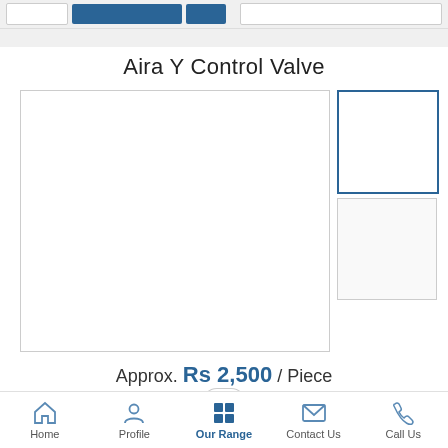[Figure (screenshot): Top navigation bar with white and blue buttons]
Aira Y Control Valve
[Figure (photo): Main product image area (white/blank) for Aira Y Control Valve]
[Figure (photo): Thumbnail 1 image (selected, blue border)]
[Figure (photo): Thumbnail 2 image (unselected)]
Approx. Rs 2,500 / Piece
Home   Profile   Our Range   Contact Us   Call Us